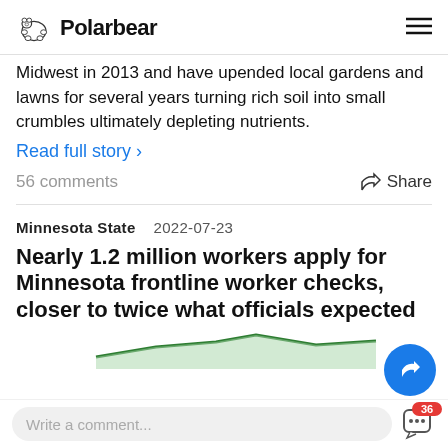Polarbear
Midwest in 2013 and have upended local gardens and lawns for several years turning rich soil into small crumbles ultimately depleting nutrients.
Read full story >
56 comments   Share
Minnesota State   2022-07-23
Nearly 1.2 million workers apply for Minnesota frontline worker checks, closer to twice what officials expected
[Figure (line-chart): Partial green line chart visible at bottom of article preview]